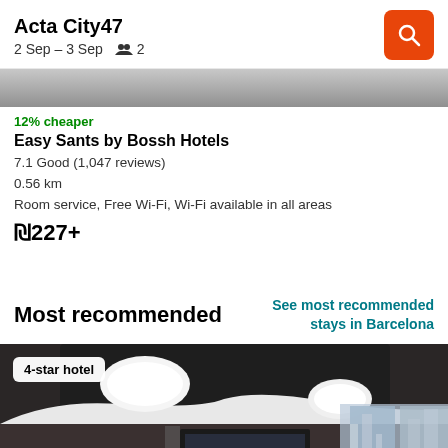Acta City47
2 Sep – 3 Sep  2
[Figure (photo): Partial hotel room photo at top of page (cropped)]
12% cheaper
Easy Sants by Bossh Hotels
7.1 Good (1,047 reviews)
0.56 km
Room service, Free Wi-Fi, Wi-Fi available in all areas
₪227+
Most recommended
See most recommended stays in Barcelona
[Figure (photo): 4-star hotel room interior photo showing dark ceiling with round lights, large windows, modern furniture]